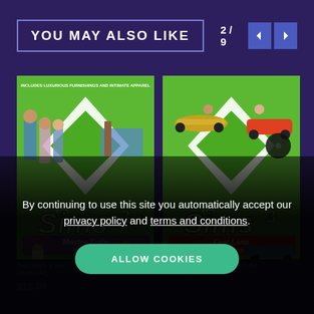YOU MAY ALSO LIKE
2 / 9
[Figure (screenshot): The Sims 3 Master Suite Stuff game cover — green diamond background with Sims characters, bedroom furniture]
[Figure (screenshot): The Sims 3 Fast Lane Stuff game cover — green diamond background with cars and Sims characters]
THE SIMS 3 MASTER SUITE STUFF PC
THE SIMS 3 FAST LANE STUFF (DOWNLOAD)
$10.59
By continuing to use this site you automatically accept our privacy policy and terms and conditions.
ALLOW COOKIES